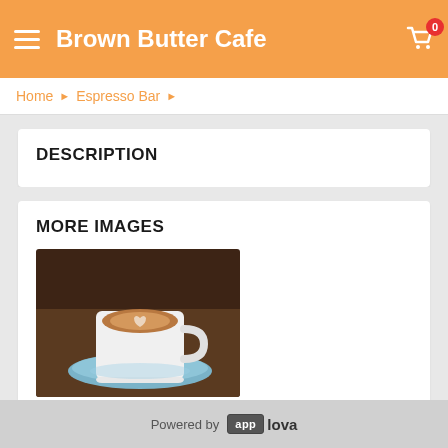Brown Butter Cafe
Home › Espresso Bar ›
DESCRIPTION
MORE IMAGES
[Figure (photo): A white espresso cup filled with a latte on a light blue saucer, on a dark wooden table background]
Powered by app lova